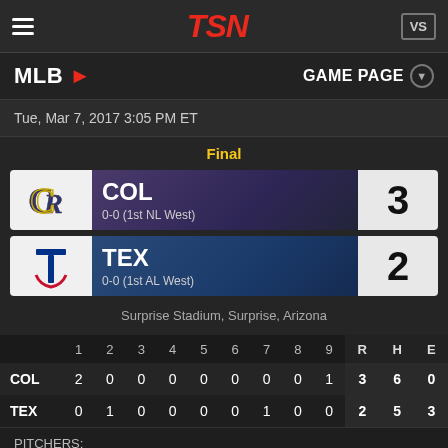TSN
MLB > GAME PAGE
Tue, Mar 7, 2017 3:05 PM ET
Final
COL 0-0 (1st NL West) 3
TEX 0-0 (1st AL West) 2
Surprise Stadium, Surprise, Arizona
|  | 1 | 2 | 3 | 4 | 5 | 6 | 7 | 8 | 9 | R | H | E |
| --- | --- | --- | --- | --- | --- | --- | --- | --- | --- | --- | --- | --- |
| COL | 2 | 0 | 0 | 0 | 0 | 0 | 0 | 0 | 1 | 3 | 6 | 0 |
| TEX | 0 | 1 | 0 | 0 | 0 | 0 | 1 | 0 | 0 | 2 | 5 | 3 |
PITCHERS:
WP - M. Dunn (-, 0.00)
LP - J. Jeffress (-, 0.00)